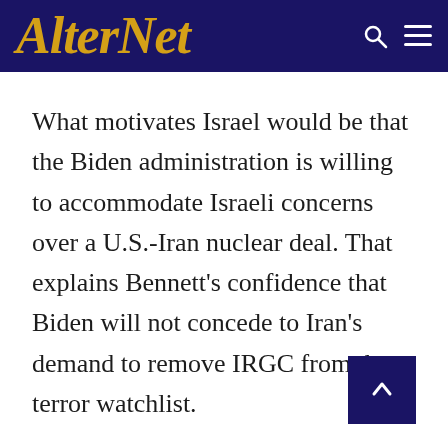AlterNet
What motivates Israel would be that the Biden administration is willing to accommodate Israeli concerns over a U.S.-Iran nuclear deal. That explains Bennett’s confidence that Biden will not concede to Iran’s demand to remove IRGC from the terror watchlist.
The bottom line is that Tehran is left with no other option now but to either accept a new